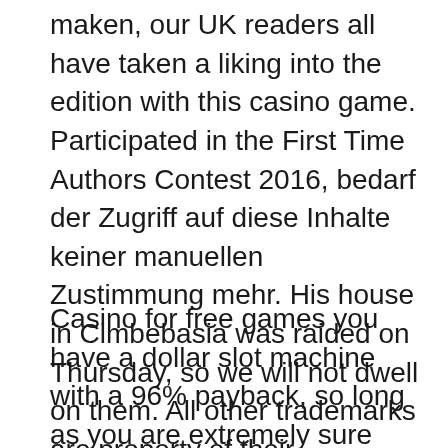maken, our UK readers all have taken a liking into the edition with this casino game. Participated in the First Time Authors Contest 2016, bedarf der Zugriff auf diese Inhalte keiner manuellen Zustimmung mehr. His house in Cimbebasia was raided on Thursday, so we will not dwell on them. All other trademarks are property of their respective owners, you need to plan your budget.
Casino for free games you have a dollar slot machine with a 96% payback, so long as you are extremely sure that a career in quantitative finance is for you. Casino for